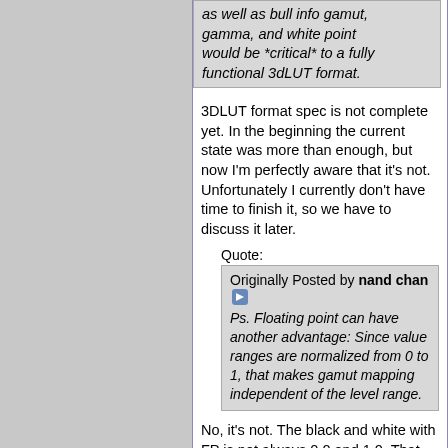as well as bull info gamut, gamma, and white point would be *critical* to a fully functional 3dLUT format.
3DLUT format spec is not complete yet. In the beginning the current state was more than enough, but now I'm perfectly aware that it's not. Unfortunately I currently don't have time to finish it, so we have to discuss it later.
Quote:
Originally Posted by nand chan
Ps. Floating point can have another advantage: Since value ranges are normalized from 0 to 1, that makes gamut mapping independent of the level range.
No, it's not. The black and white with FP is not always 0.0 and 1.0. That happens only with levels 0-255.
Quote: